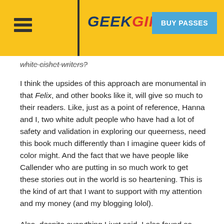GEEKGIRLCON — BUY PASSES
white cishet writers?
I think the upsides of this approach are monumental in that Felix, and other books like it, will give so much to their readers. Like, just as a point of reference, Hanna and I, two white adult people who have had a lot of safety and validation in exploring our queerness, need this book much differently than I imagine queer kids of color might. And the fact that we have people like Callender who are putting in so much work to get these stories out in the world is so heartening. This is the kind of art that I want to support with my attention and my money (and my blogging lolol).
Also, despite everything I just said, I also found so many moments in Felix, especially the parts where he's thinking about his queerness, to so intensely give me the feeling of, Wow, this is why we need queer people to write queer sh*t. Hanna pulled this perfect quote to give